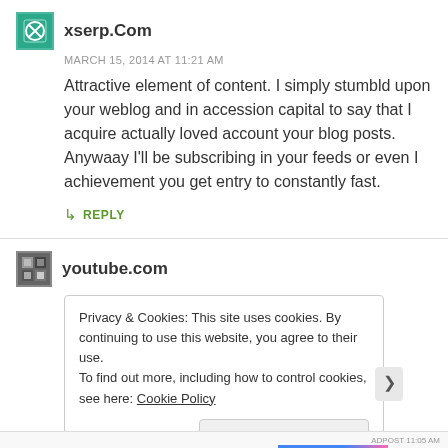xserp.Com
MARCH 15, 2014 AT 11:21 AM
Attractive element of content. I simply stumbld upon your weblog and in accession capital to say that I acquire actually loved account your blog posts. Anywaay I'll be subscribing in your feeds or even I achievement you get entry to constantly fast.
↳ REPLY
youtube.com
Privacy & Cookies: This site uses cookies. By continuing to use this website, you agree to their use. To find out more, including how to control cookies, see here: Cookie Policy
Close and accept